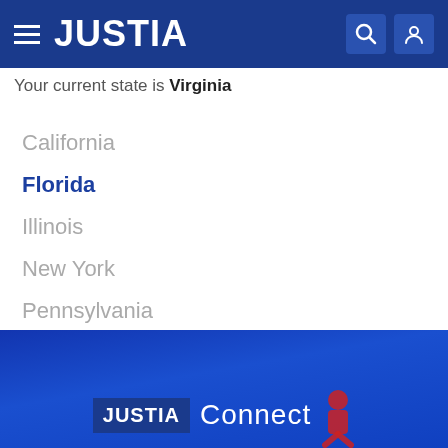JUSTIA
Your current state is Virginia
California
Florida
Illinois
New York
Pennsylvania
Texas
Show More States »
[Figure (screenshot): Blue gradient banner at bottom showing JUSTIA Connect branding with a person icon/logo]